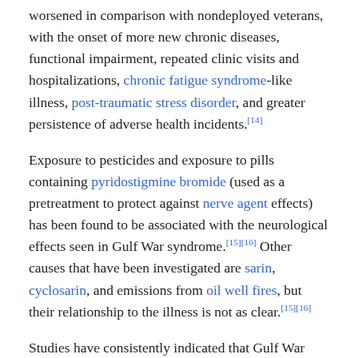worsened in comparison with nondeployed veterans, with the onset of more new chronic diseases, functional impairment, repeated clinic visits and hospitalizations, chronic fatigue syndrome-like illness, post-traumatic stress disorder, and greater persistence of adverse health incidents.[14]
Exposure to pesticides and exposure to pills containing pyridostigmine bromide (used as a pretreatment to protect against nerve agent effects) has been found to be associated with the neurological effects seen in Gulf War syndrome.[15][16] Other causes that have been investigated are sarin, cyclosarin, and emissions from oil well fires, but their relationship to the illness is not as clear.[15][16]
Studies have consistently indicated that Gulf War syndrome is not the result of combat or other stressors and that Gulf War veterans have lower rates of post-